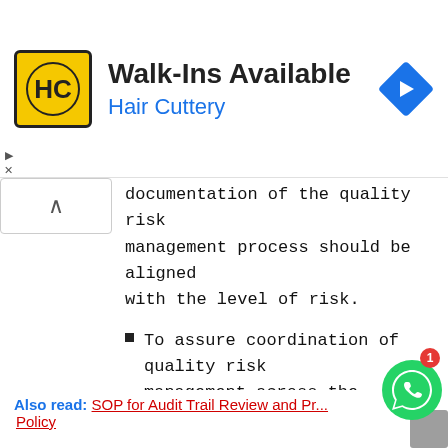[Figure (other): Walk-Ins Available Hair Cuttery advertisement banner with HC logo and navigation arrow icon]
documentation of the quality risk management process should be aligned with the level of risk.
To assure coordination of quality risk management across the various functions and departments.
To facilitate continuous improvement in manufacturing resulting from knowledge gained through periodic Quality Risk Management system reviews.
Also read: SOP for Audit Trail Review and Pr... Policy